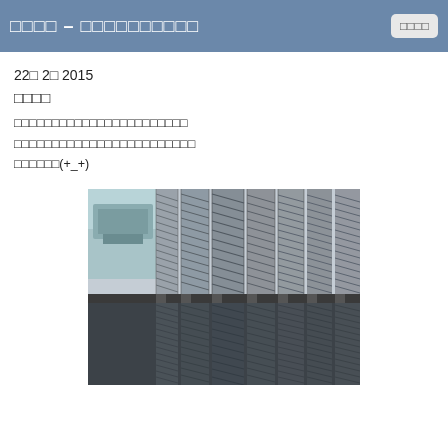□□□□ – □□□□□□□□□□   □□□□
22□ 2□ 2015
□□□□
□□□□□□□□□□□□□□□□□□□□□□□
□□□□□□□□□□□□□□□□□□□□□□□□
□□□□□□(+_+)
[Figure (photo): Industrial or architectural photo showing rows of stacked metal shelving or rack structures, possibly in a warehouse or exhibition hall. Upper half shows metallic grid racks against a ceiling with equipment. Lower half appears to be a reflection of the same structure in water or a mirror surface.]